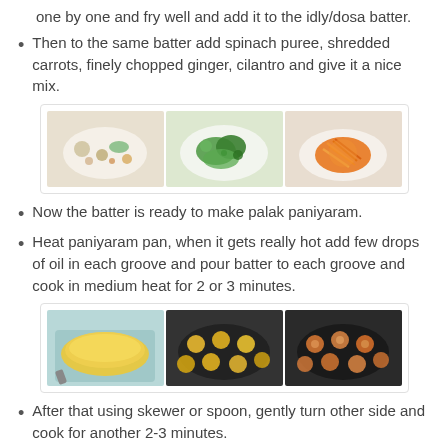one by one and fry well and add it to the idly/dosa batter.
Then to the same batter add spinach puree, shredded carrots, finely chopped ginger, cilantro and give it a nice mix.
[Figure (photo): Three photos showing ingredients being added to batter: chopped ingredients, green cilantro/spinach, and shredded orange carrots.]
Now the batter is ready to make palak paniyaram.
Heat paniyaram pan, when it gets really hot add few drops of oil in each groove and pour batter to each groove and cook in medium heat for 2 or 3 minutes.
[Figure (photo): Three photos showing cooking process: yellow batter in bowl, paniyaram pan with batter poured, and cooked paniyaram in pan.]
After that using skewer or spoon, gently turn other side and cook for another 2-3 minutes.